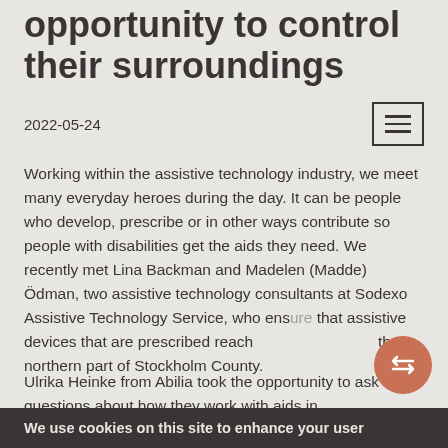opportunity to control their surroundings
2022-05-24
Working within the assistive technology industry, we meet many everyday heroes during the day. It can be people who develop, prescribe or in other ways contribute so people with disabilities get the aids they need. We recently met Lina Backman and Madelen (Madde) Ödman, two assistive technology consultants at Sodexo Assistive Technology Service, who ensure that assistive devices that are prescribed reach the northern part of Stockholm County.
Ulrika Heinke from Abilia took the opportunity to ask some questions about how they work with aids in
We use cookies on this site to enhance your user